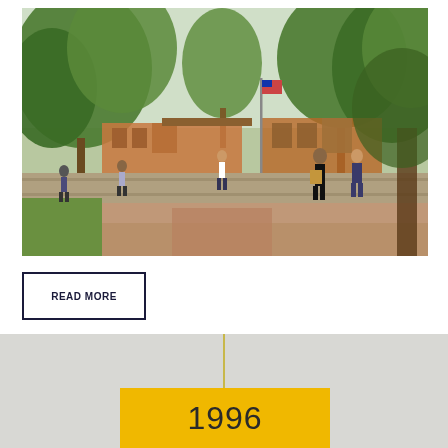[Figure (photo): Outdoor campus scene showing a university or college campus with trees, a brick/stone building, flagpole, and several students/people walking on a red brick pathway with stone steps]
READ MORE
1996